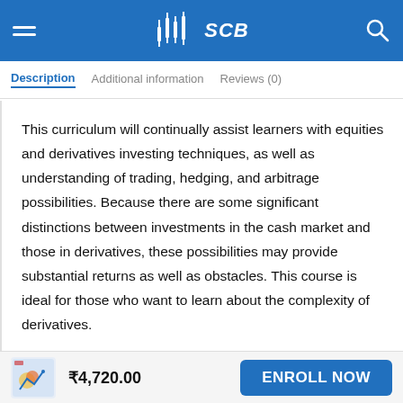[Figure (logo): SCB logo with candlestick chart icon on blue header background, hamburger menu on left, search icon on right]
Description   Additional information   Reviews (0)
This curriculum will continually assist learners with equities and derivatives investing techniques, as well as understanding of trading, hedging, and arbitrage possibilities. Because there are some significant distinctions between investments in the cash market and those in derivatives, these possibilities may provide substantial returns as well as obstacles. This course is ideal for those who want to learn about the complexity of derivatives.
₹4,720.00   ENROLL NOW